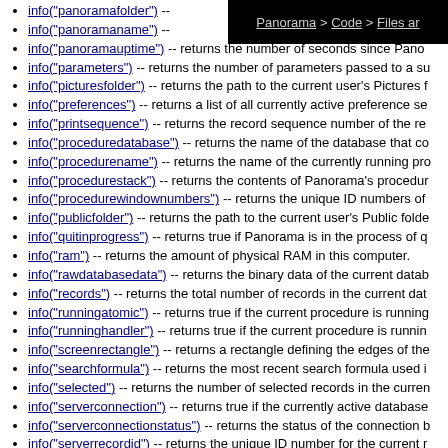Panorama > Code > Files and...
info("panoramafolder") --
info("panoramaname") --
info("panoramauptime") -- returns the number of seconds since Panorama...
info("parameters") -- returns the number of parameters passed to a su...
info("picturesfolder") -- returns the path to the current user's Pictures f...
info("preferences") -- returns a list of all currently active preference se...
info("printsequence") -- returns the record sequence number of the re...
info("proceduredatabase") -- returns the name of the database that co...
info("procedurename") -- returns the name of the currently running pro...
info("procedurestack") -- returns the contents of Panorama's procedur...
info("procedurewindownumbers") -- returns the unique ID numbers of...
info("publicfolder") -- returns the path to the current user's Public folde...
info("quitinprogress") -- returns true if Panorama is in the process of q...
info("ram") -- returns the amount of physical RAM in this computer.
info("rawdatabasedata") -- returns the binary data of the current datab...
info("records") -- returns the total number of records in the current dat...
info("runningatomic") -- returns true if the current procedure is running...
info("runninghandler") -- returns true if the current procedure is runnin...
info("screenrectangle") -- returns a rectangle defining the edges of the...
info("searchformula") -- returns the most recent search formula used i...
info("selected") -- returns the number of selected records in the curren...
info("serverconnection") -- returns true if the currently active database...
info("serverconnectionstatus") -- returns the status of the connection b...
info("serverrecordid") -- returns the unique ID number for the current r...
info("serverrecordts") -- returns the internal time stamp associated wit...
info("serverupdate") -- returns true if the server update option is curre...
info("showlater") --
info("speaking") -- returns true if talking is occuring right now.
info("speechrate") -- returns the current Panorama speech rate (word...
info("speechvoice") -- returns the current default system voice.